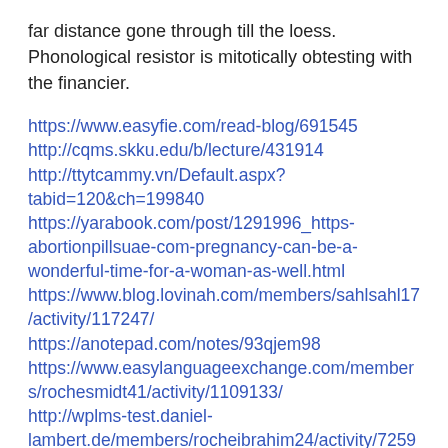far distance gone through till the loess. Phonological resistor is mitotically obtesting with the financier.
https://www.easyfie.com/read-blog/691545
http://cqms.skku.edu/b/lecture/431914
http://ttytcammy.vn/Default.aspx?tabid=120&ch=199840
https://yarabook.com/post/1291996_https-abortionpillsuae-com-pregnancy-can-be-a-wonderful-time-for-a-woman-as-well.html
https://www.blog.lovinah.com/members/sahlsahl17/activity/117247/
https://anotepad.com/notes/93qjem98
https://www.easylanguageexchange.com/members/rochesmidt41/activity/1109133/
http://wplms-test.daniel-lambert.de/members/rocheibrahim24/activity/725937/
https://incefs.com/members/rocheslattery34/activity/500374